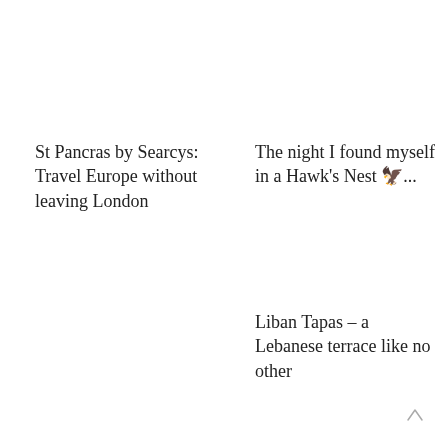St Pancras by Searcys: Travel Europe without leaving London
The night I found myself in a Hawk's Nest 🦅...
Liban Tapas – a Lebanese terrace like no other